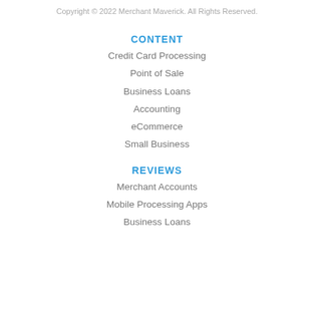Copyright © 2022 Merchant Maverick. All Rights Reserved.
CONTENT
Credit Card Processing
Point of Sale
Business Loans
Accounting
eCommerce
Small Business
REVIEWS
Merchant Accounts
Mobile Processing Apps
Business Loans